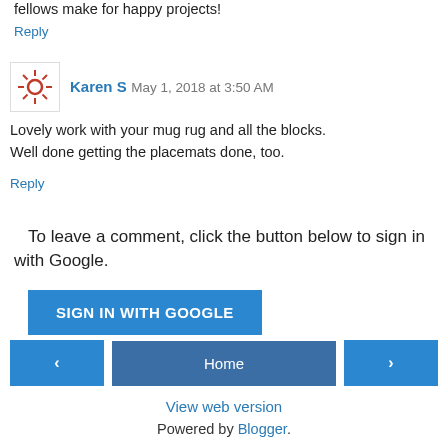fellows make for happy projects!
Reply
Karen S   May 1, 2018 at 3:50 AM
Lovely work with your mug rug and all the blocks. Well done getting the placemats done, too.
Reply
To leave a comment, click the button below to sign in with Google.
SIGN IN WITH GOOGLE
Home
View web version
Powered by Blogger.